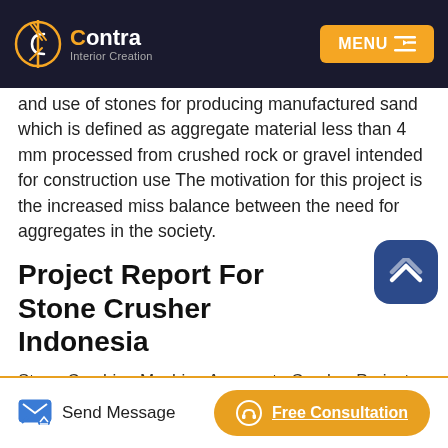Contra Interior Creation — MENU
and use of stones for producing manufactured sand which is defined as aggregate material less than 4 mm processed from crushed rock or gravel intended for construction use The motivation for this project is the increased miss balance between the need for aggregates in the society.
Project Report For Stone Crusher Indonesia
Stone Crushing Machine Aggregate Crusher Project Ston crushers project report in indonesia rainerdenjee stone crusher project report indonesia indonesia mobile stone crusher plant project report stone crushing indonesia in
Send Message   Free Consultation